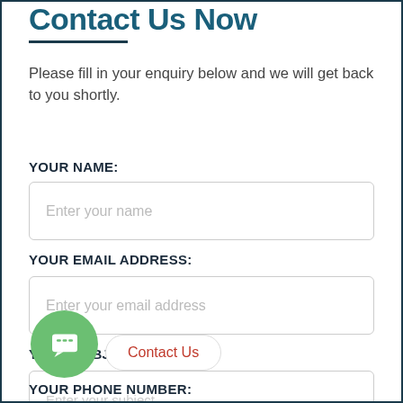Contact Us Now
Please fill in your enquiry below and we will get back to you shortly.
YOUR NAME:
Enter your name
YOUR EMAIL ADDRESS:
Enter your email address
YOUR SUBJECT:
[Figure (illustration): Green circular chat bubble icon with speech lines inside, and a 'Contact Us' pill-shaped button in red text on white background with rounded border]
YOUR PHONE NUMBER: